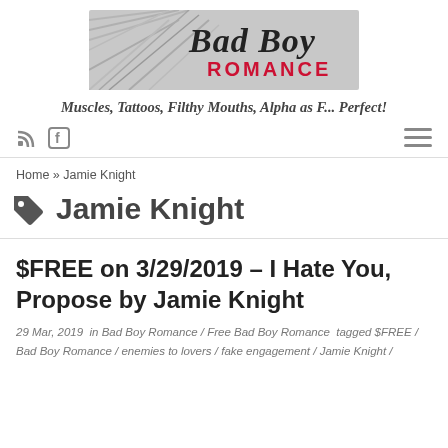[Figure (logo): Bad Boy Romance logo with braided rope background and stylized text 'Bad Boy Romance']
Muscles, Tattoos, Filthy Mouths, Alpha as F... Perfect!
Home » Jamie Knight
Jamie Knight
$FREE on 3/29/2019 – I Hate You, Propose by Jamie Knight
29 Mar, 2019 in Bad Boy Romance / Free Bad Boy Romance tagged $FREE / Bad Boy Romance / enemies to lovers / fake engagement / Jamie Knight /